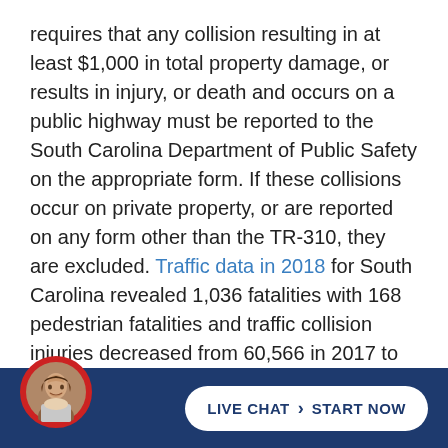requires that any collision resulting in at least $1,000 in total property damage, or results in injury, or death and occurs on a public highway must be reported to the South Carolina Department of Public Safety on the appropriate form. If these collisions occur on private property, or are reported on any form other than the TR-310, they are excluded. Traffic data in 2018 for South Carolina revealed 1,036 fatalities with 168 pedestrian fatalities and traffic collision injuries decreased from 60,566 in 2017 to 58,053. South Carolina drivers involved in fatal traffic collisions in 2018 included 68.8% men and 28.4% women and 61.4% of all contributing factors of an accident
[Figure (other): Footer bar with dark blue background containing a circular avatar photo of a man and a white pill-shaped live chat button with text 'LIVE CHAT > START NOW']